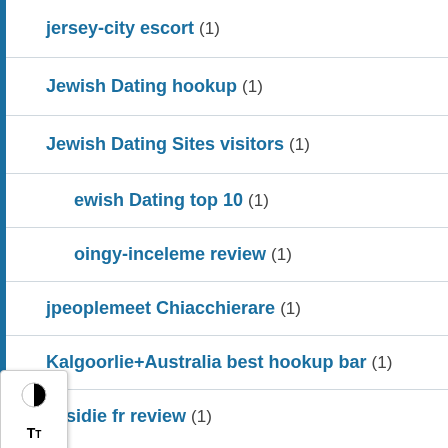jersey-city escort (1)
Jewish Dating hookup (1)
Jewish Dating Sites visitors (1)
Jewish Dating top 10 (1)
joingy-inceleme review (1)
jpeoplemeet Chiacchierare (1)
Kalgoorlie+Australia best hookup bar (1)
kasidie fr review (1)